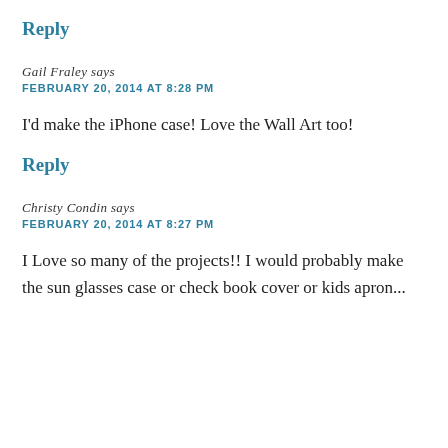Reply
Gail Fraley says
FEBRUARY 20, 2014 AT 8:28 PM
I'd make the iPhone case! Love the Wall Art too!
Reply
Christy Condin says
FEBRUARY 20, 2014 AT 8:27 PM
I Love so many of the projects!! I would probably make the sun glasses case or check book cover or kids apron...